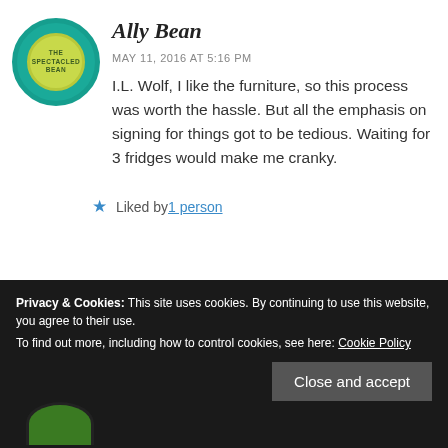[Figure (logo): Circular avatar logo for The Spectacled Bean blog, teal/green ring with yellow-green inner circle and small text]
Ally Bean
MAY 11, 2016 AT 5:16 PM
I.L. Wolf, I like the furniture, so this process was worth the hassle. But all the emphasis on signing for things got to be tedious. Waiting for 3 fridges would make me cranky.
★ Liked by 1 person
Privacy & Cookies: This site uses cookies. By continuing to use this website, you agree to their use.
To find out more, including how to control cookies, see here: Cookie Policy
Close and accept